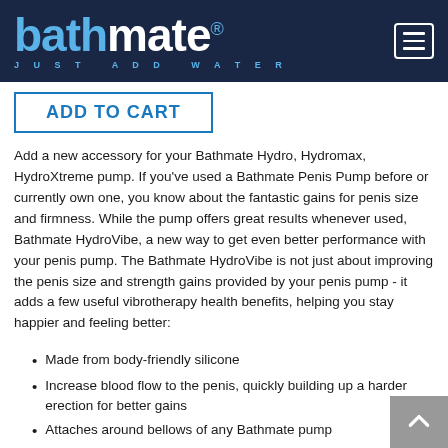bathmate® JUST ADD WATER
ADD TO CART
Add a new accessory for your Bathmate Hydro, Hydromax, HydroXtreme pump. If you've used a Bathmate Penis Pump before or currently own one, you know about the fantastic gains for penis size and firmness. While the pump offers great results whenever used, Bathmate HydroVibe, a new way to get even better performance with your penis pump. The Bathmate HydroVibe is not just about improving the penis size and strength gains provided by your penis pump - it adds a few useful vibrotherapy health benefits, helping you stay happier and feeling better:
Made from body-friendly silicone
Increase blood flow to the penis, quickly building up a harder erection for better gains
Attaches around bellows of any Bathmate pump